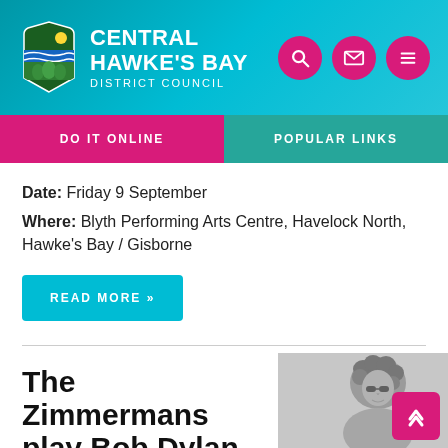Central Hawke's Bay District Council
DO IT ONLINE
POPULAR LINKS
Date: Friday 9 September
Where: Blyth Performing Arts Centre, Havelock North, Hawke's Bay / Gisborne
READ MORE »
The Zimmermans play Bob Dylan